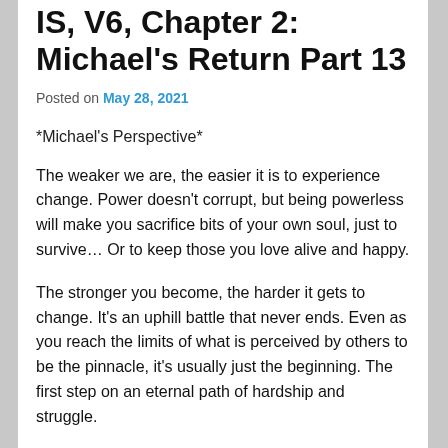IS, V6, Chapter 2: Michael's Return Part 13
Posted on May 28, 2021
*Michael's Perspective*
The weaker we are, the easier it is to experience change. Power doesn't corrupt, but being powerless will make you sacrifice bits of your own soul, just to survive… Or to keep those you love alive and happy.
The stronger you become, the harder it gets to change. It's an uphill battle that never ends. Even as you reach the limits of what is perceived by others to be the pinnacle, it's usually just the beginning. The first step on an eternal path of hardship and struggle.
But life isn't bad. Not for me, and not for most people. Regardless of how bad their situation seems from an outside perspective, they can always find a way to...